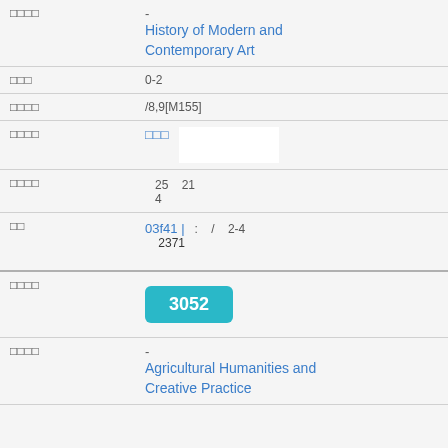| Label | Value |
| --- | --- |
| □□□□ | - History of Modern and Contemporary Art |
| □□□ | 0-2 |
| □□□□ | /8,9[M155] |
| □□□□ | □□□ |
| □□□□ | 25  21
4 |
| □□ | 03f41 |  :  /  2-4
2371 |
| □□□□ | 3052 |
| □□□□ | - Agricultural Humanities and Creative Practice... |